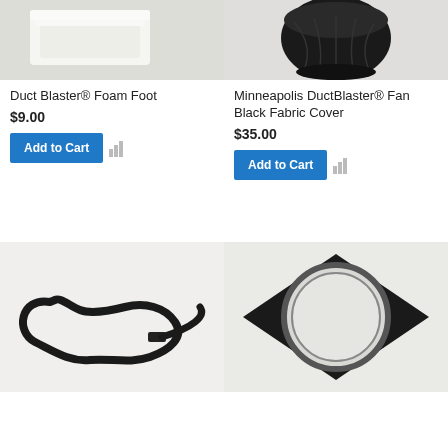[Figure (photo): Duct Blaster foam foot product — white foam piece on light background]
Duct Blaster® Foam Foot
$9.00
[Figure (photo): Minneapolis DuctBlaster Fan black fabric cover — black gathered fabric cover on white background]
Minneapolis DuctBlaster® Fan Black Fabric Cover
$35.00
[Figure (photo): Black elastic strap/band product on white background]
[Figure (photo): Black square adapter ring with circular opening — black foam square frame with round hole]